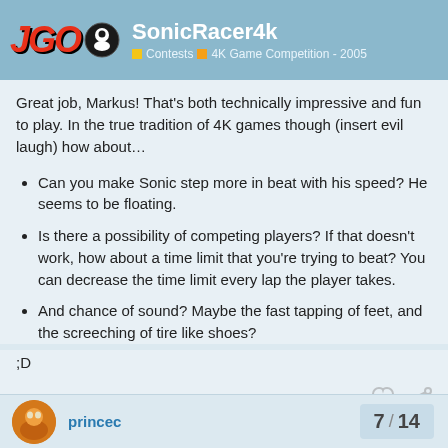SonicRacer4k | Contests | 4K Game Competition - 2005
Great job, Markus! That's both technically impressive and fun to play. In the true tradition of 4K games though (insert evil laugh) how about…
Can you make Sonic step more in beat with his speed? He seems to be floating.
Is there a possibility of competing players? If that doesn't work, how about a time limit that you're trying to beat? You can decrease the time limit every lap the player takes.
And chance of sound? Maybe the fast tapping of feet, and the screeching of tire like shoes?
;D
princec | 7 / 14